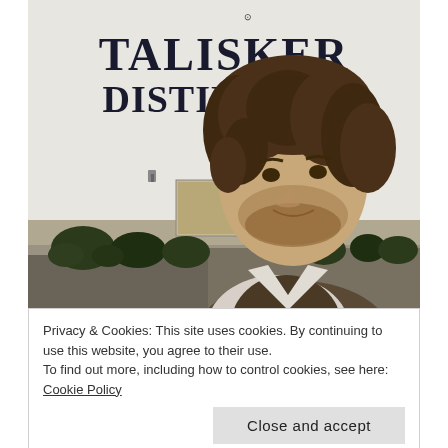[Figure (photo): A young man with curly dark hair and a beard, wearing a white shirt and brown vest, standing in front of the Talisker Distillery building. The building is white with large dark letters reading 'TALISKER DISTILLERY'. There are bushes and a paved area visible in the background.]
Privacy & Cookies: This site uses cookies. By continuing to use this website, you agree to their use.
To find out more, including how to control cookies, see here: Cookie Policy
Close and accept
town along the way – and it just happened to contain a distillery!